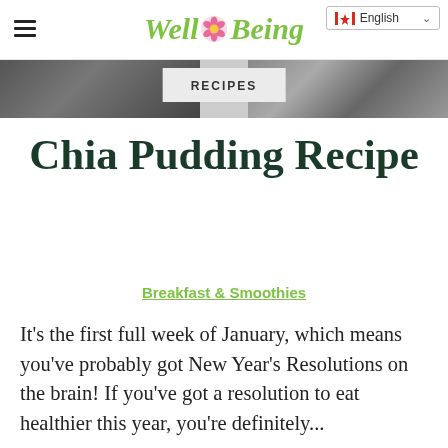Well Being
RECIPES
Chia Pudding Recipe
Breakfast & Smoothies
It's the first full week of January, which means you've probably got New Year's Resolutions on the brain! If you've got a resolution to eat healthier this year, you're definitely...